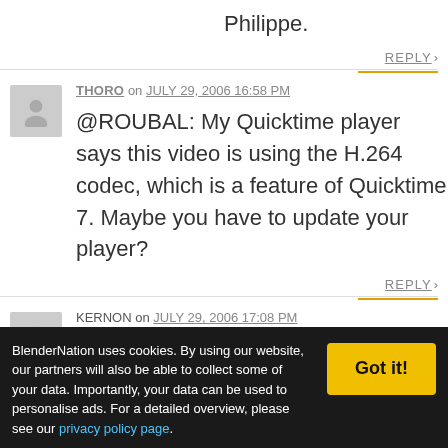Philippe.
REPLY >
THORO on JULY 29, 2006 16:58 PM
@ROUBAL: My Quicktime player says this video is using the H.264 codec, which is a feature of Quicktime 7. Maybe you have to update your player?
REPLY >
KERNON on JULY 29, 2006 17:08 PM
@Roubal:
Try using the VLC player (google for it, it's
BlenderNation uses cookies. By using our website, our partners will also be able to collect some of your data. Importantly, your data can be used to personalise ads. For a detailed overview, please see our privacy policy page.